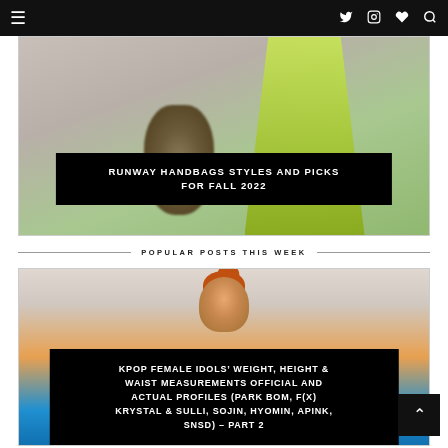Navigation bar with hamburger menu, Twitter, Instagram, heart, and search icons
[Figure (photo): Fashion runway photo showing a yellow-green dress and furry handbag with black overlay text reading RUNWAY HANDBAGS STYLES AND PICKS FOR FALL 2022]
RUNWAY HANDBAGS STYLES AND PICKS FOR FALL 2022
POPULAR POSTS THIS WEEK
[Figure (photo): Photo of a young woman with red hair in a bun wearing a turquoise outfit, with black overlay text for KPOP article]
KPOP FEMALE IDOLS' WEIGHT, HEIGHT & WAIST MEASUREMENTS OFFICIAL AND ACTUAL PROFILES (PARK BOM, F(X) KRYSTAL & SULLI, SOJIN, HYOMIN, APINK, SNSD) – PART 2